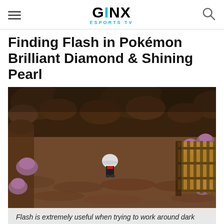GINX ESPORTS TV
Finding Flash in Pokémon Brilliant Diamond & Shining Pearl
[Figure (screenshot): In-game screenshot from Pokémon Brilliant Diamond/Shining Pearl showing a top-down cave area with a player character wearing a white hat and dark outfit standing on a brown rocky floor. Purple mushroom-like rocks are scattered around the cave walls. A wooden-railed bridge/gate is visible on the right side.]
Flash is extremely useful when trying to work around dark